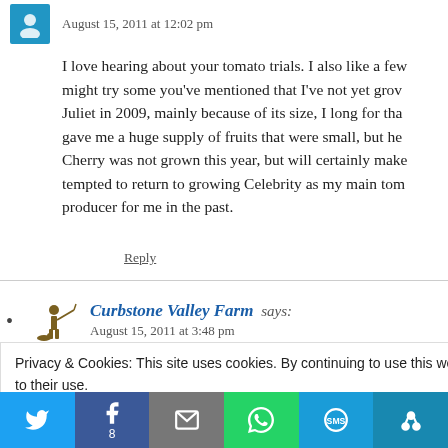August 15, 2011 at 12:02 pm
I love hearing about your tomato trials. I also like a few... might try some you've mentioned that I've not yet gro... Juliet in 2009, mainly because of its size, I long for tha... gave me a huge supply of fruits that were small, but he... Cherry was not grown this year, but will certainly make... tempted to return to growing Celebrity as my main tom... producer for me in the past.
Reply
Curbstone Valley Farm says:
August 15, 2011 at 3:48 pm
Privacy & Cookies: This site uses cookies. By continuing to use this website, you agree to their use.
To find out more, including how to control cookies, see here: Cookie Policy
[Figure (infographic): Social sharing bar with Twitter, Facebook (8), Email, WhatsApp, SMS, and More buttons]